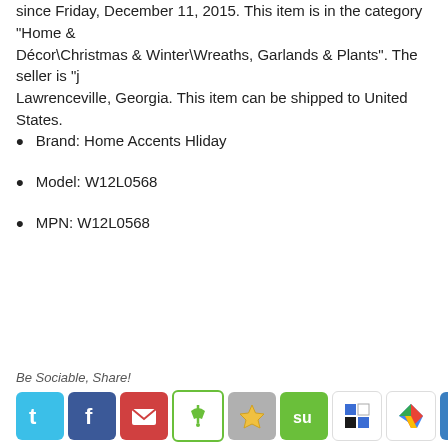since Friday, December 11, 2015. This item is in the category "Home & Décor\Christmas & Winter\Wreaths, Garlands & Plants". The seller is "j Lawrenceville, Georgia. This item can be shipped to United States.
Brand: Home Accents Hliday
Model: W12L0568
MPN: W12L0568
Be Sociable, Share!
[Figure (infographic): Social sharing buttons row: Twitter (blue bird), Facebook (blue f), Mail (red envelope), Pin (green pushpin, highlighted border), Star (gold star on gray), StumbleUpon (green SU), Delicious (blue/black squares), Google Plus (colorful arrow), LinkedIn (blue in), and a More button (dark with green plus).]